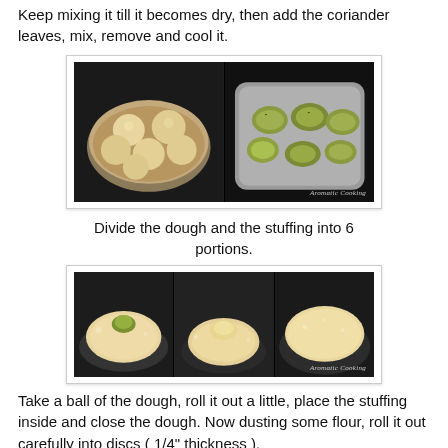Keep mixing it till it becomes dry, then add the coriander leaves, mix, remove and cool it.
[Figure (photo): Two food photos side by side: left shows dough balls in a metallic bowl, right shows stuffing portions in a steel tray.]
Divide the dough and the stuffing into 6 portions.
[Figure (photo): Three food preparation photos side by side: left shows a flat dough circle with stuffing on top, center shows a dough ball with stuffing on a pan, right shows a rolled out dough disc.]
Take a ball of the dough, roll it out a little, place the stuffing inside and close the dough. Now dusting some flour, roll it out carefully into discs ( 1/4" thickness ).